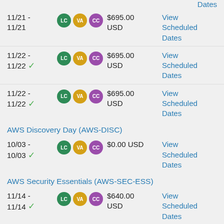Dates
11/21 - 11/21 | LC VA CC | $695.00 USD | View Scheduled Dates
11/22 - 11/22 ✓ | LC VA CC | $695.00 USD | View Scheduled Dates
11/22 - 11/22 ✓ | LC VA CC | $695.00 USD | View Scheduled Dates
AWS Discovery Day (AWS-DISC)
10/03 - 10/03 ✓ | LC VA CC | $0.00 USD | View Scheduled Dates
AWS Security Essentials (AWS-SEC-ESS)
11/14 - 11/14 ✓ | LC VA CC | $640.00 USD | View Scheduled Dates